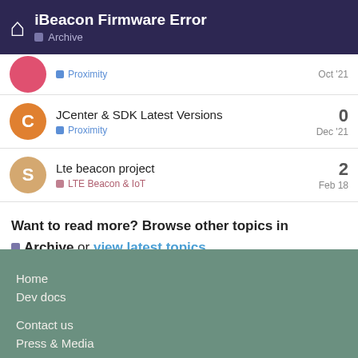iBeacon Firmware Error | Archive
Proximity | Oct '21
JCenter & SDK Latest Versions | Proximity | Dec '21 | 0 replies
Lte beacon project | LTE Beacon & IoT | Feb 18 | 2 replies
Want to read more? Browse other topics in Archive or view latest topics.
Home
Dev docs
Contact us
Press & Media